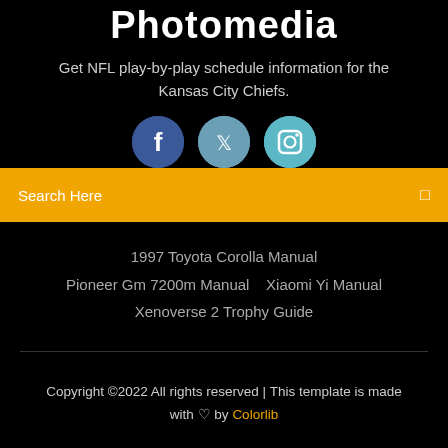Photomedia
Get NFL play-by-play schedule information for the Kansas City Chiefs.
[Figure (other): Three social media icon buttons: Facebook (dark blue circle), Twitter (medium blue circle), Instagram (light blue circle)]
Search Here
1997 Toyota Corolla Manual
Pioneer Gm 7200m Manual   Xiaomi Yi Manual
Xenoverse 2 Trophy Guide
Copyright ©2022 All rights reserved | This template is made with ♡ by Colorlib